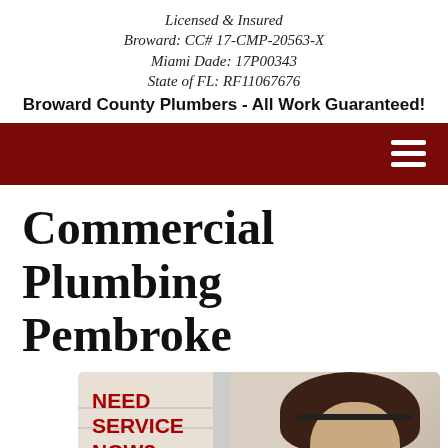Licensed & Insured
Broward: CC# 17-CMP-20563-X
Miami Dade: 17P00343
State of FL: RF11067676
Broward County Plumbers - All Work Guaranteed!
[Figure (other): Dark red navigation bar with hamburger menu icon (three white horizontal lines) on the right side]
Commercial Plumbing Pembroke
[Figure (photo): Promotional image with text NEED SERVICE NOW? in red bold letters on the left, and a woman wearing a headset on the right, with a red bar at the bottom]